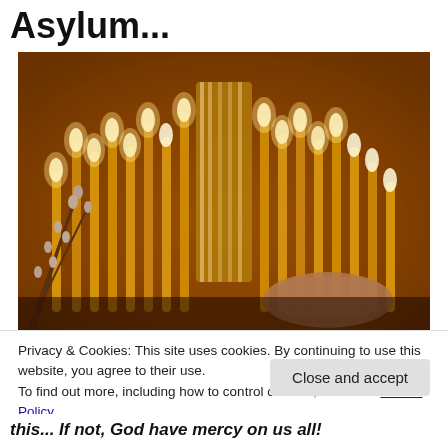Asylum...
[Figure (photo): A photograph of lit church candles in warm golden tones, with a hand placing or holding a candle among many others in front of a reflective golden holder, with pussy willow branches visible on the left side.]
Privacy & Cookies: This site uses cookies. By continuing to use this website, you agree to their use.
To find out more, including how to control cookies, see here: Cookie Policy
Close and accept
this... If not, God have mercy on us all!